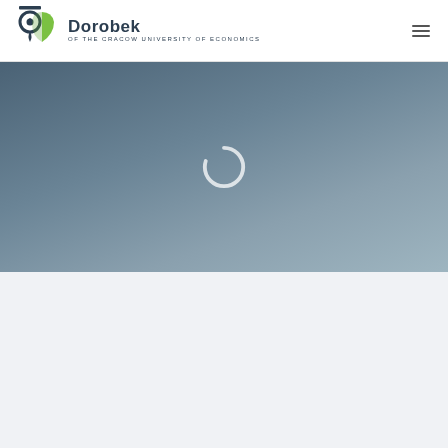[Figure (logo): Dorobek of the Cracow University of Economics logo with location pin icon and green shield shape on the left, bold dark blue text 'Dorobek' and subtitle 'OF THE CRACOW UNIVERSITY OF ECONOMICS' on the right]
[Figure (screenshot): Hero section with dark blue-grey gradient background containing a circular loading spinner in the center]
[Figure (other): Light grey-blue empty content area below the hero section]